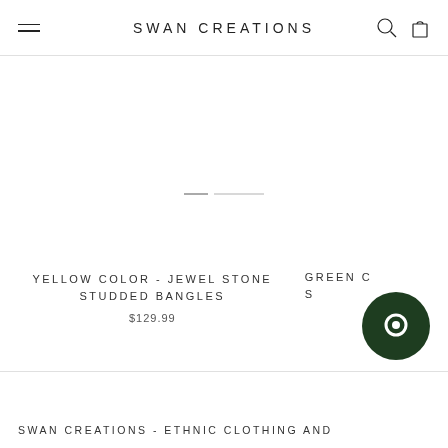SWAN CREATIONS
[Figure (other): White empty product image placeholder with carousel navigation dots in center]
YELLOW COLOR - JEWEL STONE STUDDED BANGLES
$129.99
GREEN C... S
[Figure (other): Dark green circular chat support button icon]
SWAN CREATIONS - ETHNIC CLOTHING AND